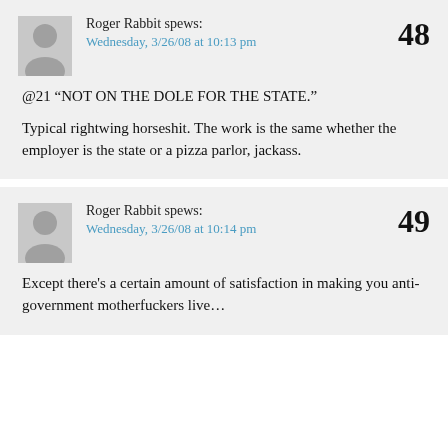Roger Rabbit spews:
Wednesday, 3/26/08 at 10:13 pm
48
@21 “NOT ON THE DOLE FOR THE STATE.”

Typical rightwing horseshit. The work is the same whether the employer is the state or a pizza parlor, jackass.
Roger Rabbit spews:
Wednesday, 3/26/08 at 10:14 pm
49
Except there’s a certain amount of satisfaction in making you anti-government motherfuckers live…